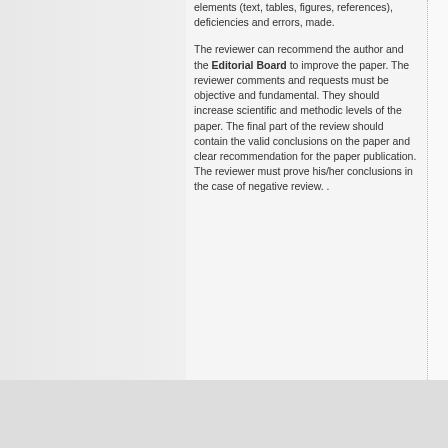elements (text, tables, figures, references), deficiencies and errors, made.
The reviewer can recommend the author and the Editorial Board to improve the paper. The reviewer comments and requests must be objective and fundamental. They should increase scientific and methodic levels of the paper. The final part of the review should contain the valid conclusions on the paper and clear recommendation for the paper publication. The reviewer must prove his/her conclusions in the case of negative review. .